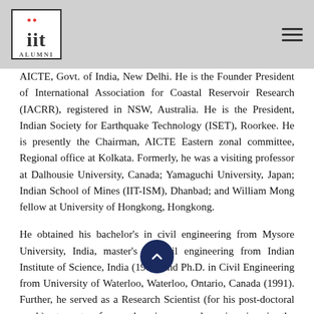IIT Alumni
AICTE, Govt. of India, New Delhi. He is the Founder President of International Association for Coastal Reservoir Research (IACRR), registered in NSW, Australia. He is the President, Indian Society for Earthquake Technology (ISET), Roorkee. He is presently the Chairman, AICTE Eastern zonal committee, Regional office at Kolkata. Formerly, he was a visiting professor at Dalhousie University, Canada; Yamaguchi University, Japan; Indian School of Mines (IIT-ISM), Dhanbad; and William Mong fellow at University of Hongkong, Hongkong.
He obtained his bachelor's in civil engineering from Mysore University, India, master's in civil engineering from Indian Institute of Science, India (1986) and Ph.D. in Civil Engineering from University of Waterloo, Waterloo, Ontario, Canada (1991). Further, he served as a Research Scientist (for his post-doctoral work) at centre for earth sciences and engineering in the Department of Petroleum Engineering, University of Texas at Austin, Texas, USA until 1994.
His area of interest is in Geotechnical Engineering. He is involved in design of large number of tailing dams, red mud